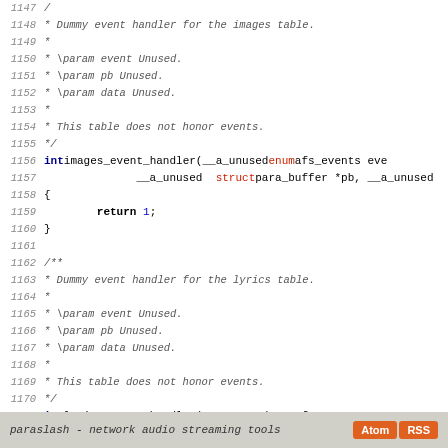Source code listing lines 1147-1175, showing dummy event handler functions images_event_handler and lyrics_event_handler in C
paraslash - network audio streaming tools  Atom  RSS